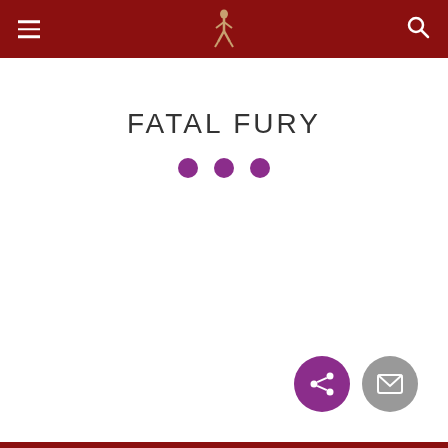FATAL FURY — site header with hamburger menu, logo figure, and search icon
FATAL FURY
[Figure (infographic): Three purple decorative dots used as a divider below the title]
[Figure (infographic): Two circular action buttons at bottom right: purple share button and grey mail/envelope button]